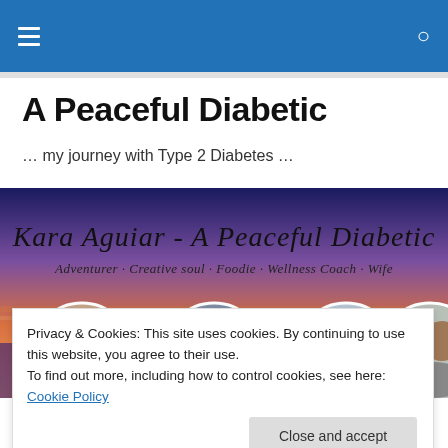A Peaceful Diabetic
… my journey with Type 2 Diabetes …
[Figure (photo): Banner image for 'Kara Aguiar - A Peaceful Diabetic' blog with cursive text and four circular portrait photos of a woman, set against a sunset/purple sky background. Subtitle text: Adventurer · Creative soul · Foodie · Wellness Coach · Wife]
Privacy & Cookies: This site uses cookies. By continuing to use this website, you agree to their use.
To find out more, including how to control cookies, see here: Cookie Policy
Close and accept